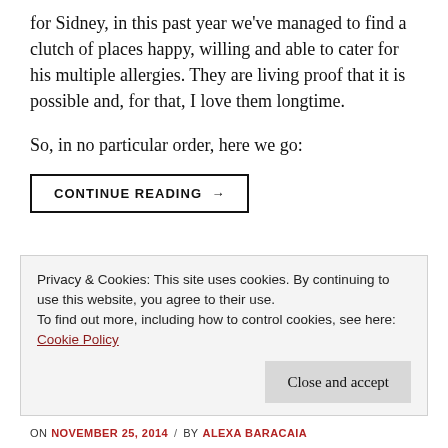for Sidney, in this past year we've managed to find a clutch of places happy, willing and able to cater for his multiple allergies. They are living proof that it is possible and, for that, I love them longtime.
So, in no particular order, here we go:
CONTINUE READING →
Privacy & Cookies: This site uses cookies. By continuing to use this website, you agree to their use.
To find out more, including how to control cookies, see here: Cookie Policy
Close and accept
ON NOVEMBER 25, 2014 / BY ALEXA BARACAIA